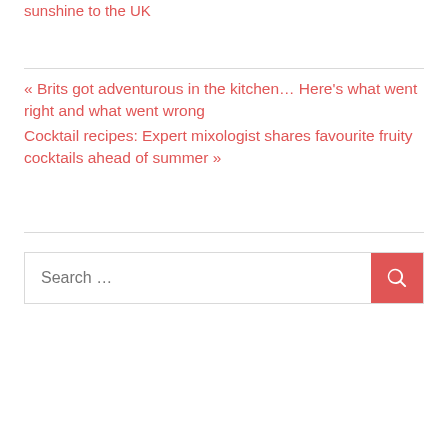sunshine to the UK
« Brits got adventurous in the kitchen… Here's what went right and what went wrong
Cocktail recipes: Expert mixologist shares favourite fruity cocktails ahead of summer »